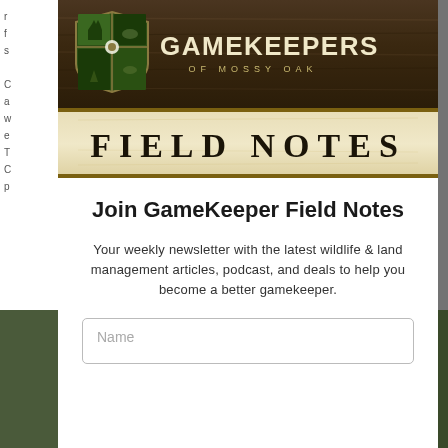[Figure (illustration): Gamekeepers of Mossy Oak Field Notes newsletter banner. Top section shows shield logo with wildlife silhouettes and large bold GAMEKEEPERS OF MOSSY OAK text on dark wood background. Bottom section shows FIELD NOTES text in distressed serif font on aged parchment-colored background.]
Join GameKeeper Field Notes
Your weekly newsletter with the latest wildlife & land management articles, podcast, and deals to help you become a better gamekeeper.
Name